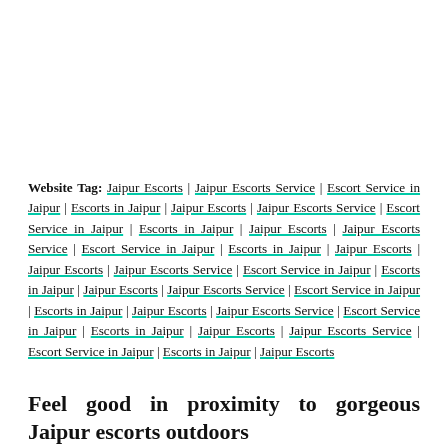Website Tag: Jaipur Escorts | Jaipur Escorts Service | Escort Service in Jaipur | Escorts in Jaipur | Jaipur Escorts | Jaipur Escorts Service | Escort Service in Jaipur | Escorts in Jaipur | Jaipur Escorts | Jaipur Escorts Service | Escort Service in Jaipur | Escorts in Jaipur | Jaipur Escorts | Jaipur Escorts | Jaipur Escorts Service | Escort Service in Jaipur | Escorts in Jaipur | Jaipur Escorts | Jaipur Escorts Service | Escort Service in Jaipur | Escorts in Jaipur | Jaipur Escorts | Jaipur Escorts Service | Escort Service in Jaipur | Escorts in Jaipur | Jaipur Escorts | Jaipur Escorts Service | Escort Service in Jaipur | Escorts in Jaipur | Jaipur Escorts
Feel good in proximity to gorgeous Jaipur escorts outdoors